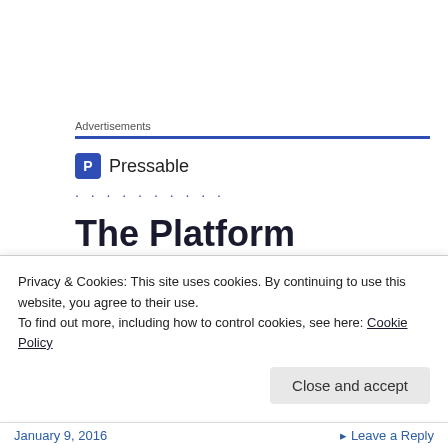Advertisements
[Figure (logo): Pressable logo with blue square icon containing letter P and the word Pressable]
..........
The Platform Where WordPress Works Best
Privacy & Cookies: This site uses cookies. By continuing to use this website, you agree to their use.
To find out more, including how to control cookies, see here: Cookie Policy
Close and accept
January 9, 2016    ▸ Leave a Reply